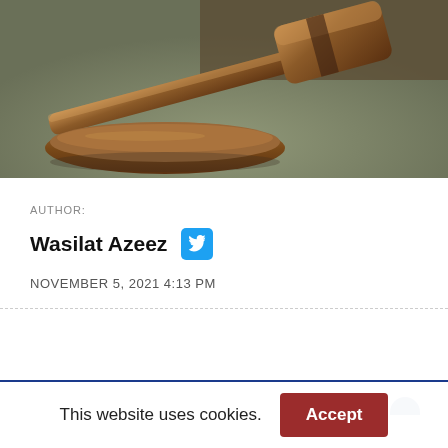[Figure (photo): Close-up photograph of a wooden judge's gavel resting on its sound block, on a green surface. Brown wooden tones dominate with detailed wood grain texture.]
AUTHOR:
Wasilat Azeez
NOVEMBER 5, 2021 4:13 PM
This website uses cookies.